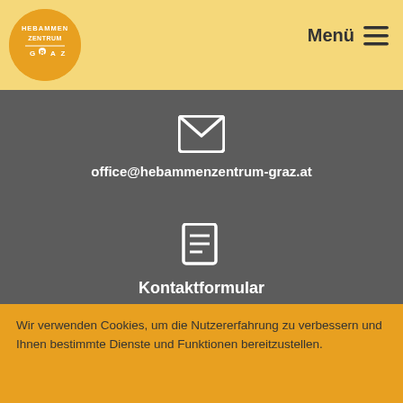Hebammen Zentrum Graz — Menü
[Figure (logo): Orange circular logo with text HEBAMMEN ZENTRUM GRAZ]
office@hebammenzentrum-graz.at
[Figure (illustration): Document/form icon]
Kontaktformular
AGB
Wir verwenden Cookies, um die Nutzererfahrung zu verbessern und Ihnen bestimmte Dienste und Funktionen bereitzustellen.